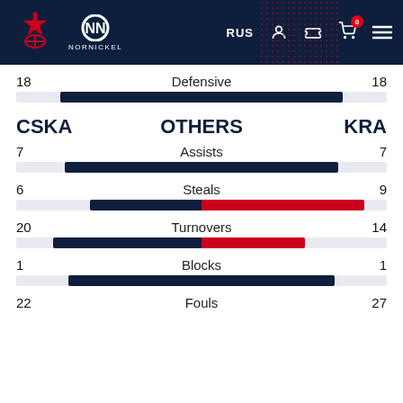[Figure (screenshot): CSKA Moscow website header with navy background, CSKA logo, Nornickel sponsor logo, RUS navigation link, user/ticket/cart icons with cart badge showing 0, hamburger menu, and red dot pattern background element]
18 | Defensive | 18
CSKA | OTHERS | KRA
7 | Assists | 7
6 | Steals | 9
20 | Turnovers | 14
1 | Blocks | 1
22 | Fouls | 27